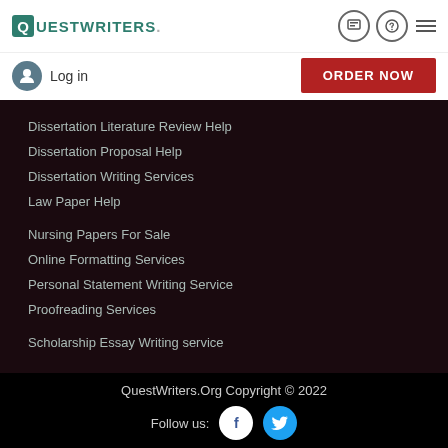QUESTWRITERS.
Log in
ORDER NOW
Dissertation Literature Review Help
Dissertation Proposal Help
Dissertation Writing Services
Law Paper Help
Nursing Papers For Sale
Online Formatting Services
Personal Statement Writing Service
Proofreading Services
Scholarship Essay Writing service
QuestWriters.Org Copyright © 2022  Follow us: